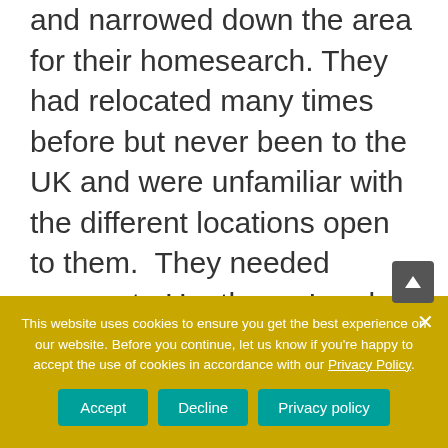and narrowed down the area for their homesearch. They had relocated many times before but never been to the UK and were unfamiliar with the different locations open to them.  They needed access to Heathrow, London and Newbury for work and having initially thought they would like to live in a commuter town, after a long discussion, backed up with area information, they decided South West London would suit them better. Having no children but 2 dogs, the lifestyle and café culture of Richmond suited them perfectly. They also looked...
This website uses cookies to ensure you get the best experience on our website. Before you continue, let us know if you're happy to accept the use of cookies in accordance with our Privacy Policy.